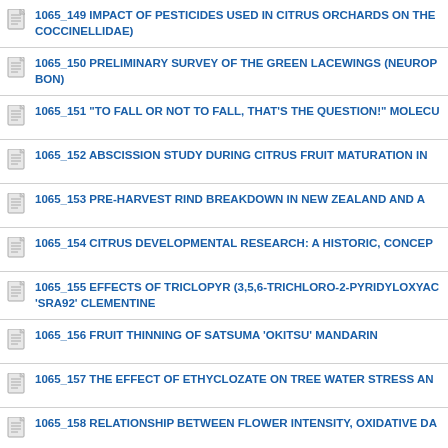1065_149 IMPACT OF PESTICIDES USED IN CITRUS ORCHARDS ON THE COCCINELLIDAE)
1065_150 PRELIMINARY SURVEY OF THE GREEN LACEWINGS (NEUROP BON)
1065_151 "TO FALL OR NOT TO FALL, THAT'S THE QUESTION!" MOLECU
1065_152 ABSCISSION STUDY DURING CITRUS FRUIT MATURATION IN
1065_153 PRE-HARVEST RIND BREAKDOWN IN NEW ZEALAND AND A
1065_154 CITRUS DEVELOPMENTAL RESEARCH: A HISTORIC, CONCEP
1065_155 EFFECTS OF TRICLOPYR (3,5,6-TRICHLORO-2-PYRIDYLOXYAC 'SRA92' CLEMENTINE
1065_156 FRUIT THINNING OF SATSUMA 'OKITSU' MANDARIN
1065_157 THE EFFECT OF ETHYCLOZATE ON TREE WATER STRESS AN
1065_158 RELATIONSHIP BETWEEN FLOWER INTENSITY, OXIDATIVE DA